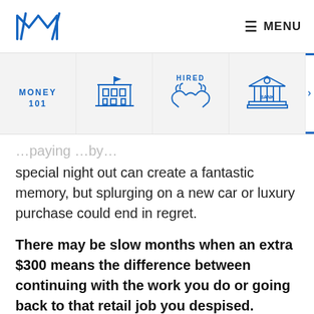M Logo | MENU
[Figure (illustration): Navigation strip with icons: MONEY 101 (text), a school/government building, a handshake with HIRED text, a bank building, and a partially visible active tab with blue border]
special night out can create a fantastic memory, but splurging on a new car or luxury purchase could end in regret.
There may be slow months when an extra $300 means the difference between continuing with the work you do or going back to that retail job you despised.